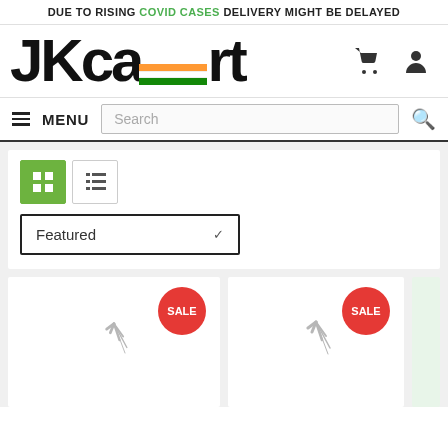DUE TO RISING COVID CASES DELIVERY MIGHT BE DELAYED
[Figure (logo): JKcart logo with Indian flag stripes on letters, shopping cart and user icons]
MENU  Search [search icon]
[Figure (screenshot): Product listing toolbar with grid/list view toggle buttons and Featured sort dropdown]
[Figure (screenshot): Product grid showing two product cards each with SALE badge and loading spinner]